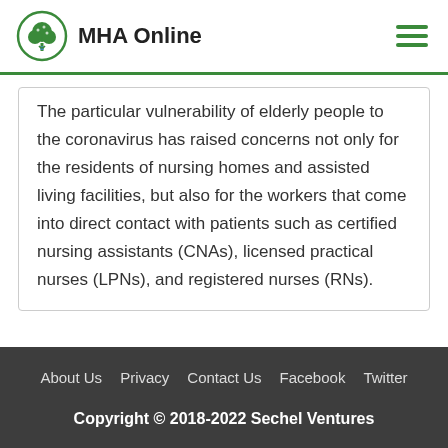MHA Online
The particular vulnerability of elderly people to the coronavirus has raised concerns not only for the residents of nursing homes and assisted living facilities, but also for the workers that come into direct contact with patients such as certified nursing assistants (CNAs), licensed practical nurses (LPNs), and registered nurses (RNs).
About Us  Privacy  Contact Us  Facebook  Twitter  Copyright © 2018-2022 Sechel Ventures